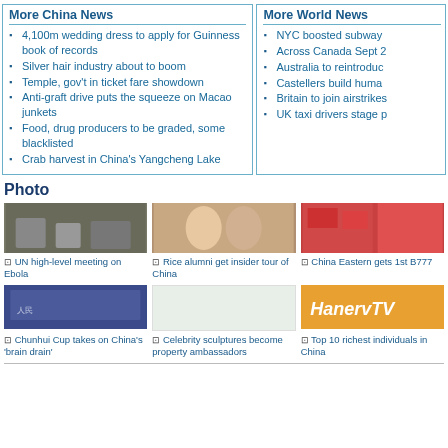More China News
4,100m wedding dress to apply for Guinness book of records
Silver hair industry about to boom
Temple, gov't in ticket fare showdown
Anti-graft drive puts the squeeze on Macao junkets
Food, drug producers to be graded, some blacklisted
Crab harvest in China's Yangcheng Lake
More World News
NYC boosted subway
Across Canada Sept 2
Australia to reintroduc
Castellers build huma
Britain to join airstrikes
UK taxi drivers stage p
Photo
[Figure (photo): Three photo thumbnails in a row: group of people, two people posing, crowd with red flags]
UN high-level meeting on Ebola
Rice alumni get insider tour of China
China Eastern gets 1st B777
[Figure (photo): Thumbnail of people at a government building]
[Figure (photo): Empty/light thumbnail]
[Figure (logo): HanervTV orange logo]
Chunhui Cup takes on China's 'brain drain'
Celebrity sculptures become property ambassadors
Top 10 richest individuals in China